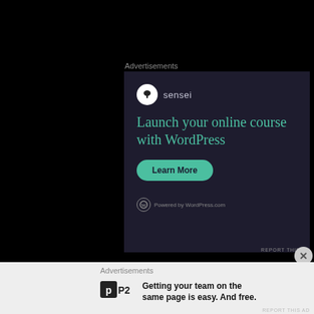Advertisements
[Figure (illustration): Sensei advertisement: dark background with Sensei logo (circular icon with tree), headline 'Launch your online course with WordPress' in teal, a teal 'Learn More' button, and 'Powered by WordPress.com' footer text]
REPORT THIS AD
Advertisements
[Figure (logo): P2 logo: black square with white 'p' letter and 'P2' text]
Getting your team on the same page is easy. And free.
REPORT THIS AD